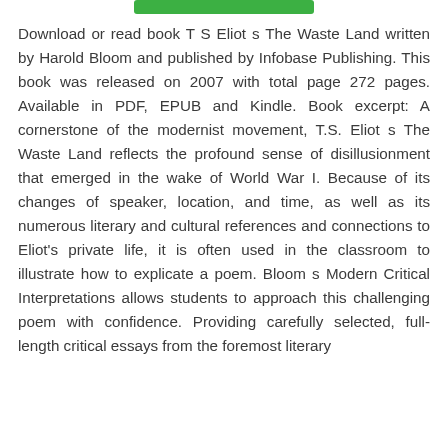[Figure (other): Green rectangular bar at top of page]
Download or read book T S Eliot s The Waste Land written by Harold Bloom and published by Infobase Publishing. This book was released on 2007 with total page 272 pages. Available in PDF, EPUB and Kindle. Book excerpt: A cornerstone of the modernist movement, T.S. Eliot s The Waste Land reflects the profound sense of disillusionment that emerged in the wake of World War I. Because of its changes of speaker, location, and time, as well as its numerous literary and cultural references and connections to Eliot's private life, it is often used in the classroom to illustrate how to explicate a poem. Bloom s Modern Critical Interpretations allows students to approach this challenging poem with confidence. Providing carefully selected, full-length critical essays from the foremost literary